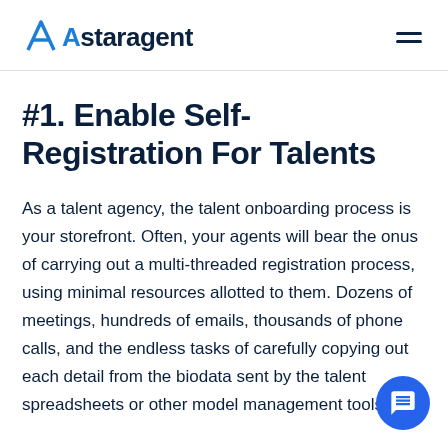Astaragent
#1. Enable Self-Registration For Talents
As a talent agency, the talent onboarding process is your storefront. Often, your agents will bear the onus of carrying out a multi-threaded registration process, using minimal resources allotted to them. Dozens of meetings, hundreds of emails, thousands of phone calls, and the endless tasks of carefully copying out each detail from the biodata sent by the talent spreadsheets or other model management tools –